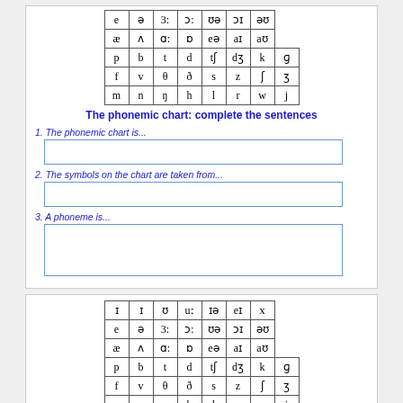[Figure (table-as-image): Phonemic chart grid showing IPA symbols for English phonemes (partial, top rows cut off): rows with e ə 3: ɔ: ʊə ɔɪ əʊ / æ ʌ ɑ: ɒ eə aɪ aʊ / p b t d tʃ dʒ k ɡ / f v θ ð s z ʃ ʒ / m n ŋ h l r w j]
The phonemic chart: complete the sentences
1. The phonemic chart is...
2. The symbols on the chart are taken from...
3. A phoneme is...
[Figure (table-as-image): Full phonemic chart grid showing IPA symbols for English phonemes: ɪ I ʊ uː ɪə eɪ x / e ə 3: ɔ: ʊə ɔɪ əʊ / æ ʌ ɑ: ɒ eə aɪ aʊ / p b t d tʃ dʒ k ɡ / f v θ ð s z ʃ ʒ / m n ŋ h l r w j]
The phonemic chart: complete the sentences
1. The phonemic chart is...
a visual representation of the phoneme set of 'Standard English'
2. The symbols on the chart are taken from...